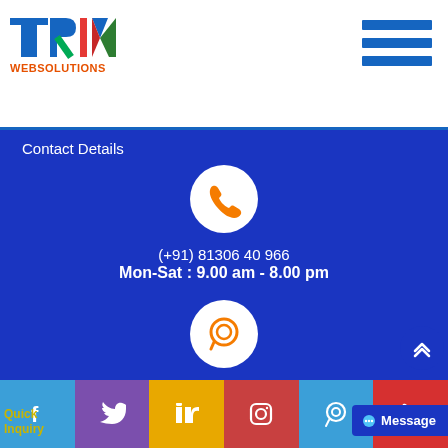[Figure (logo): TRIM WEBSOLUTIONS logo with blue T, blue-green R, red I, blue-green-red M letters and orange WEBSOLUTIONS text]
[Figure (infographic): Hamburger menu icon with three blue horizontal bars]
Contact Details
[Figure (infographic): White circle with orange phone icon]
(+91) 81306 40 966
Mon-Sat : 9.00 am - 8.00 pm
[Figure (infographic): White circle with orange WhatsApp icon]
(+91) 78277 51662
Mon-Sat : 9.00 am - 8.00 pm
[Figure (infographic): Social media icon bar with Facebook, Twitter, LinkedIn, Instagram, WhatsApp, Phone icons]
Quick Inquiry
Message